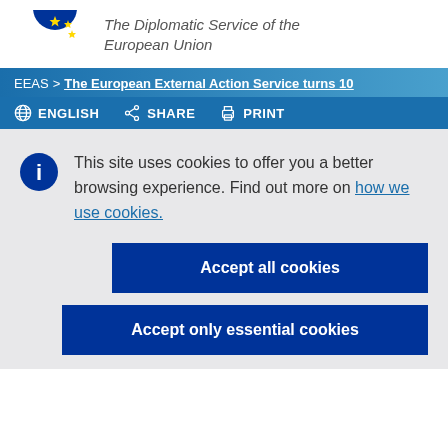[Figure (logo): European Union flag logo — partial circle of gold stars on blue background, partially cropped at top]
The Diplomatic Service of the European Union
EEAS > The European External Action Service turns 10
ENGLISH   SHARE   PRINT
This site uses cookies to offer you a better browsing experience. Find out more on how we use cookies.
Accept all cookies
Accept only essential cookies